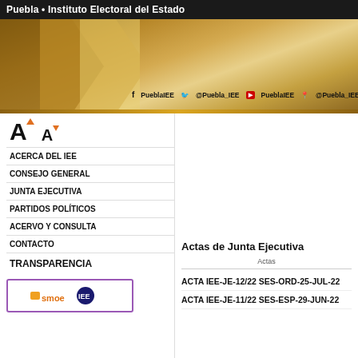Puebla • Instituto Electoral del Estado
[Figure (illustration): Gold/tan chevron banner with social media handles: PueblaIEE (Facebook), @Puebla_IEE (Twitter), PueblaIEE (YouTube), @Puebla_IEE (location pin)]
ACERCA DEL IEE
CONSEJO GENERAL
JUNTA EJECUTIVA
PARTIDOS POLÍTICOS
ACERVO Y CONSULTA
CONTACTO
TRANSPARENCIA
[Figure (logo): SMOE and IEE logos side by side with purple border]
Actas de Junta Ejecutiva
Actas
ACTA IEE-JE-12/22 SES-ORD-25-JUL-22
ACTA IEE-JE-11/22 SES-ESP-29-JUN-22